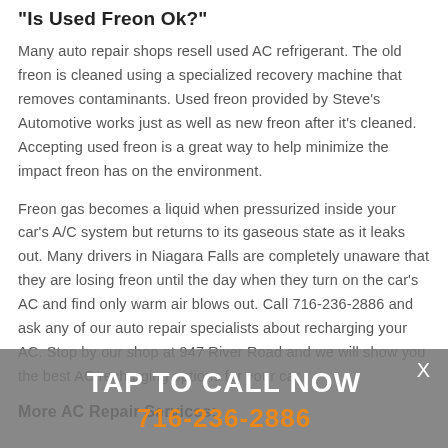"Is Used Freon Ok?"
Many auto repair shops resell used AC refrigerant. The old freon is cleaned using a specialized recovery machine that removes contaminants. Used freon provided by Steve's Automotive works just as well as new freon after it's cleaned. Accepting used freon is a great way to help minimize the impact freon has on the environment.
Freon gas becomes a liquid when pressurized inside your car's A/C system but returns to its gaseous state as it leaks out. Many drivers in Niagara Falls are completely unaware that they are losing freon until the day when they turn on the car's AC and find only warm air blows out. Call 716-236-2886 and ask any of our auto repair specialists about recharging your AC. Stop by our shop at 947 River Road and we will show you the best AC recharging options for your car.
More AC Repair Services:
TAP TO CALL NOW
716-236-2886